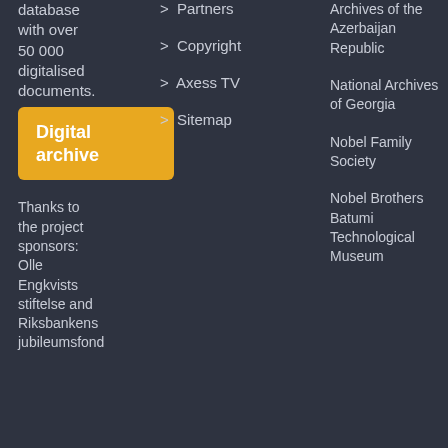database with over 50 000 digitalised documents.
Digital archive
Thanks to the project sponsors: Olle Engkvists stiftelse and Riksbankens jubileumsfond
> Partners
> Copyright
> Axess TV
> Sitemap
Archives of the Azerbaijan Republic
National Archives of Georgia
Nobel Family Society
Nobel Brothers Batumi Technological Museum